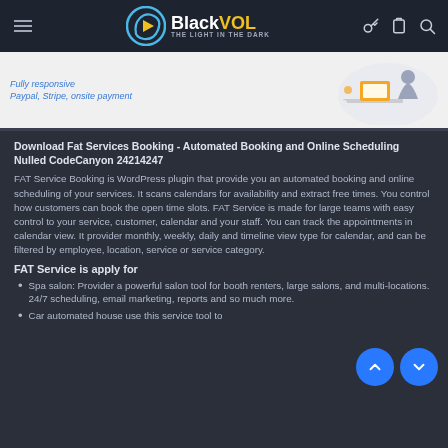BlackVOL – THE LIGHT IN THE DARK
[Figure (screenshot): Promo banner snippet showing 'Fully responsive' and 'Paypal, Stripe, onsite payment' text alongside a graphic illustration of a person at a desk]
Download Fat Services Booking - Automated Booking and Online Scheduling Nulled CodeCanyon 24214247
FAT Service Booking is WordPress plugin that provide you an automated booking and online scheduling of your services. It scans calendars for availability and extract free times. You control how customers can book the open time slots. FAT Service is made for large teams with easy control to your service, customer, calendar and your staff. You can track the appointments in calendar view. It provider monthly, weekly, daily and timeline view type for calendar, and can be filtered by employee, location, service or service category.
FAT Service is apply for
Spa salon: Provider a powerful salon tool for booth renters, large salons, and multi-locations. 24/7 scheduling, email marketing, reports and so much more.
Car automated house use this service tool to